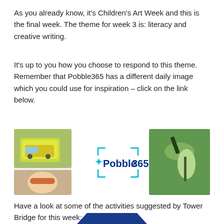As you already know, it’s Children’s Art Week and this is the final week. The theme for week 3 is: literacy and creative writing.
It’s up to you how you choose to respond to this theme. Remember that Pobble365 has a different daily image which you could use for inspiration – click on the link below.
[Figure (screenshot): Pobble365 website banner showing the Pobble365 logo in the center (blue text with a cyan bracket motif) surrounded by various thumbnail images including a yellow van, a child, and nature/insect photographs.]
Have a look at some of the activities suggested by Tower Bridge for this week: